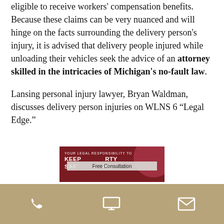and makes its employees who are not eligible to receive workers' compensation benefits. Because these claims can be very nuanced and will hinge on the facts surrounding the delivery person's injury, it is advised that delivery people injured while unloading their vehicles seek the advice of an attorney skilled in the intricacies of Michigan's no-fault law.
Lansing personal injury lawyer, Bryan Waldman, discusses delivery person injuries on WLNS 6 “Legal Edge.”
[Figure (screenshot): Video thumbnail with dark red background showing text 'YOUR LEGAL RESPONSIBILITY TO KEEP [PROPERTY] SAFE [FROM DELIVERY] INJURIES' with a 'Free Consultation' overlay bar]
Phone | Monitor | Email icons